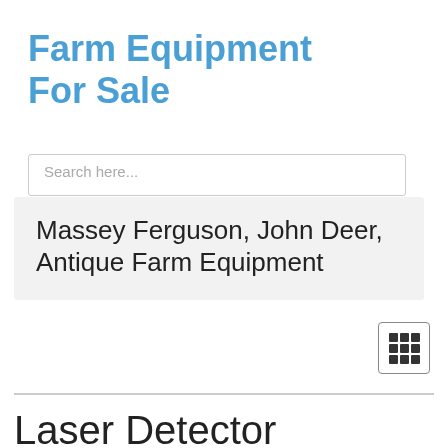Farm Equipment For Sale
[Figure (screenshot): Search input box with placeholder text 'Search here...' and a dropdown suggestion showing 'Massey Ferguson, John Deer, Antique Farm Equipment']
Massey Ferguson, John Deer, Antique Farm Equipment
[Figure (other): Grid/tile view toggle button with 3x3 dot grid icon]
Laser Detector